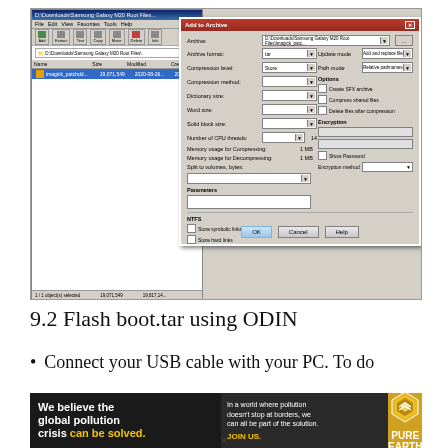[Figure (screenshot): Screenshot of a Windows file manager showing a Samsung Galaxy M20 Root Files folder alongside an 'Add to Archive' dialog box (WinRAR/7-Zip style) with fields for Archive format, Compression level, Compression method, Dictionary size, Word size, Solid block size, Number of CPU threads, Memory usage for Compressing/Decompressing, Split to volumes, Parameters, NTFS options, and buttons for OK, Cancel, Help. The right panel shows Update mode and Path mode dropdowns, and Options including encrypt checkboxes.]
9.2 Flash boot.tar using ODIN
Connect your USB cable with your PC. To do
[Figure (photo): Advertisement banner for Pure Earth organization. Left black section: 'We believe the global pollution crisis can be solved.' (can be solved in yellow). Middle dark section: 'In a world where pollution doesn't stop at borders, we can all be part of the solution.' with 'JOIN US.' in yellow. Right gold section: Pure Earth logo with diamond/chevron icon and text 'PURE EARTH'.]